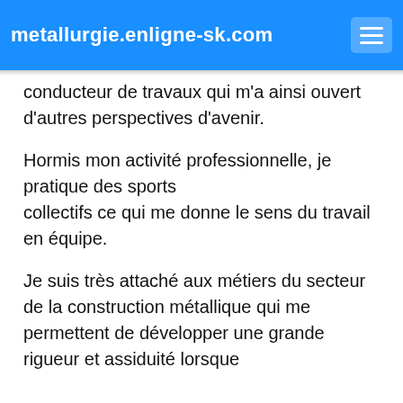metallurgie.enligne-sk.com
conducteur de travaux qui m'a ainsi ouvert d'autres perspectives d'avenir.
Hormis mon activité professionnelle, je pratique des sports collectifs ce qui me donne le sens du travail en équipe.
Je suis très attaché aux métiers du secteur de la construction métallique qui me permettent de développer une grande rigueur et assiduité lorsque